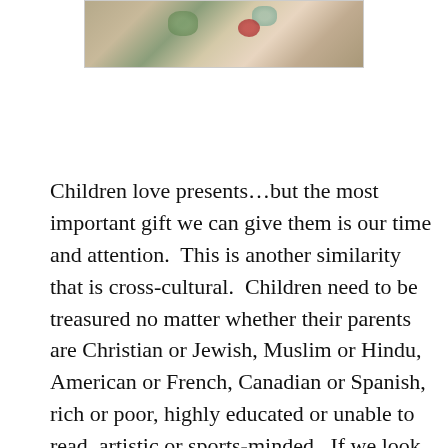[Figure (photo): Partial photograph showing a colorful decorative textile or rug with muted earth tones and small colored accents (red, green).]
Children love presents…but the most important gift we can give them is our time and attention.  This is another similarity that is cross-cultural.  Children need to be treasured no matter whether their parents are Christian or Jewish, Muslim or Hindu, American or French, Canadian or Spanish, rich or poor, highly educated or unable to read. artistic or sports-minded.  If we look at cultures all over the world, we see that this is true…in most societies, parents, and often the entire community, strive to cherish the children.  Of course, in war-ravaged areas or when epidemics of famine rage, it is often the children who suffer the most.